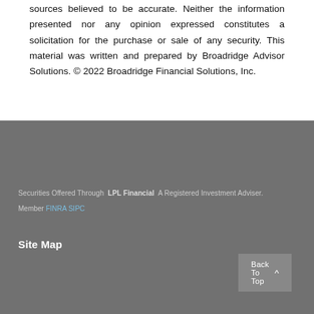sources believed to be accurate. Neither the information presented nor any opinion expressed constitutes a solicitation for the purchase or sale of any security. This material was written and prepared by Broadridge Advisor Solutions. © 2022 Broadridge Financial Solutions, Inc.
Securities Offered Through  LPL Financial  A Registered Investment Adviser.
Member FINRA SIPC
Site Map
Back To Top